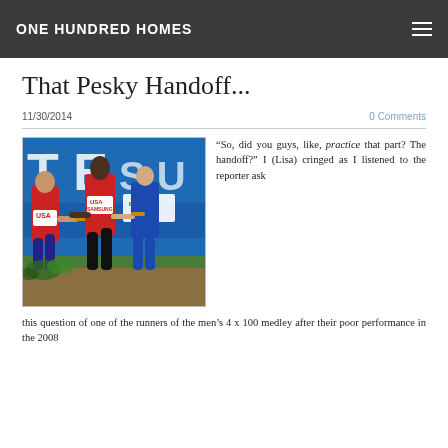ONE HUNDRED HOMES
That Pesky Handoff...
11/30/2014
0 Comments
[Figure (photo): Relay race runners, USA team passing baton during 4x100 medley race]
“So, did you guys, like, practice that part? The handoff?” I (Lisa) cringed as I listened to the reporter ask this question of one of the runners of the men’s 4 x 100 medley after their poor performance in the 2008